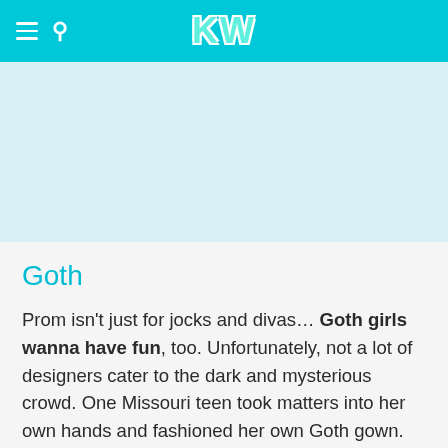KW
[Figure (other): Advertisement or image placeholder area (light blue/white background)]
Goth
Prom isn't just for jocks and divas… Goth girls wanna have fun, too. Unfortunately, not a lot of designers cater to the dark and mysterious crowd. One Missouri teen took matters into her own hands and fashioned her own Goth gown. But if you're shopping for a fantasy